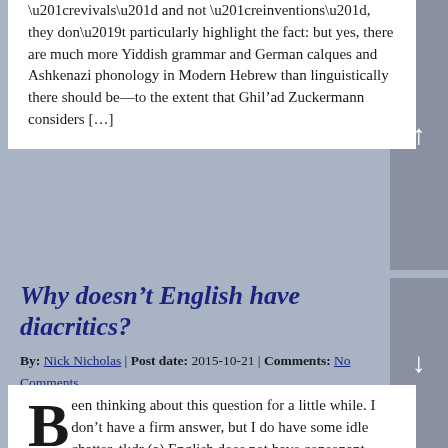“revivals” and not “reinventions”, they don’t particularly highlight the fact: but yes, there are much more Yiddish grammar and German calques and Ashkenazi phonology in Modern Hebrew than linguistically there should be—to the extent that Ghil’ad Zuckermann considers […]
Why doesn’t English have diacritics?
By: Nick Nicholas | Post date: 2015-10-21 | Comments: No Comments
Posted in categories: English, Writing Systems
Been thinking about this question for a little while. I don’t have a firm answer, but I do have some idle chatter. tl;dr (a) English does not have consonant diacritics because England isn’t in Eastern Europe.English does not have vowel diacritics because (b) initially neither did French, and (b) by the time diacritics could have […]